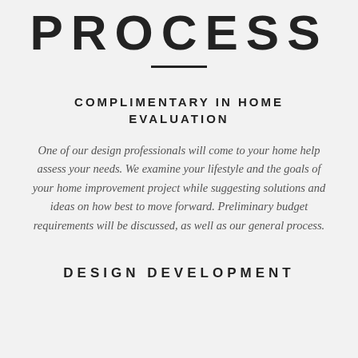PROCESS
COMPLIMENTARY IN HOME EVALUATION
One of our design professionals will come to your home help assess your needs. We examine your lifestyle and the goals of your home improvement project while suggesting solutions and ideas on how best to move forward. Preliminary budget requirements will be discussed, as well as our general process.
DESIGN DEVELOPMENT